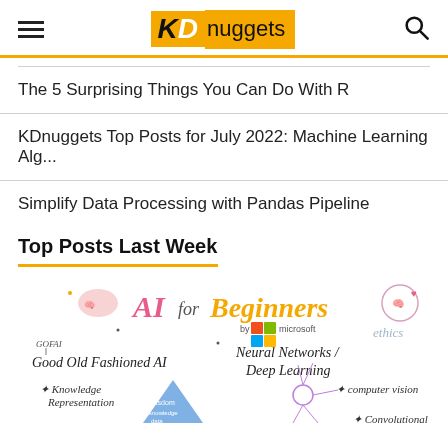KDnuggets
The 5 Surprising Things You Can Do With R
KDnuggets Top Posts for July 2022: Machine Learning Alg...
Simplify Data Processing with Pandas Pipeline
Top Posts Last Week
[Figure (illustration): AI for Beginners sketchnote illustration by Microsoft featuring topics: GOFAI (Good Old Fashioned AI), Knowledge Representation, Neural Networks / Deep Learning, Computer Vision, Convolutional, Ethics]